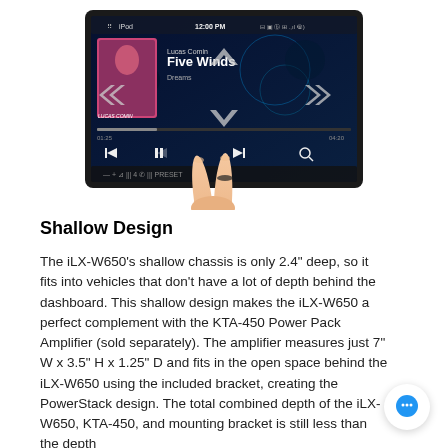[Figure (photo): Car audio head unit (Alpine iLX-W650) touchscreen display showing iPod music playback interface with 'Five Winds' by Lucas Comin playing, with a hand using two fingers on the screen demonstrating touch gestures.]
Shallow Design
The iLX-W650's shallow chassis is only 2.4" deep, so it fits into vehicles that don't have a lot of depth behind the dashboard. This shallow design makes the iLX-W650 a perfect complement with the KTA-450 Power Pack Amplifier (sold separately). The amplifier measures just 7" W x 3.5" H x 1.25" D and fits in the open space behind the iLX-W650 using the included bracket, creating the PowerStack design. The total combined depth of the iLX-W650, KTA-450, and mounting bracket is still less than the depth